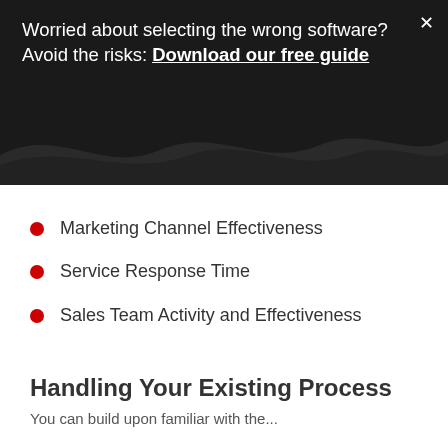Worried about selecting the wrong software? Avoid the risks: Download our free guide
Marketing Channel Effectiveness
Service Response Time
Sales Team Activity and Effectiveness
Handling Your Existing Process